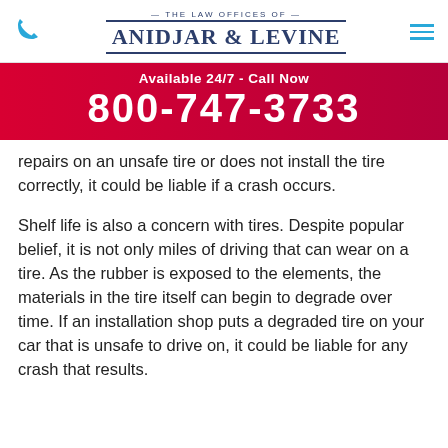THE LAW OFFICES OF ANIDJAR & LEVINE
Available 24/7 - Call Now
800-747-3733
repairs on an unsafe tire or does not install the tire correctly, it could be liable if a crash occurs.
Shelf life is also a concern with tires. Despite popular belief, it is not only miles of driving that can wear on a tire. As the rubber is exposed to the elements, the materials in the tire itself can begin to degrade over time. If an installation shop puts a degraded tire on your car that is unsafe to drive on, it could be liable for any crash that results.